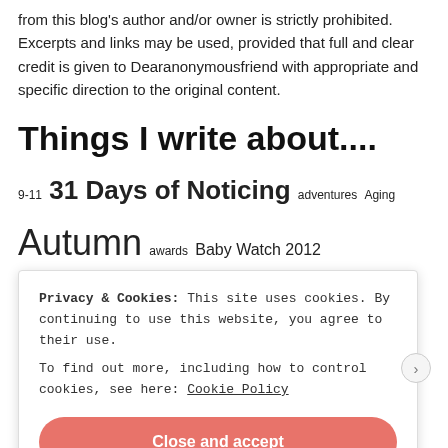from this blog's author and/or owner is strictly prohibited. Excerpts and links may be used, provided that full and clear credit is given to Dearanonymousfriend with appropriate and specific direction to the original content.
Things I write about....
9-11 31 Days of Noticing adventures Aging Autumn awards Baby Watch 2012 Birthday birthday wishes blogger blogging cancer change children Christmas Christmas tree Corona Virus country covid-19
Privacy & Cookies: This site uses cookies. By continuing to use this website, you agree to their use.
To find out more, including how to control cookies, see here: Cookie Policy
Close and accept